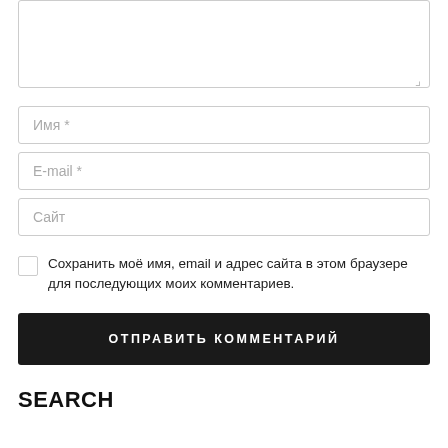[Figure (screenshot): Textarea input box, partially visible at top of page, with resize handle at bottom right]
Имя *
E-mail *
Сайт
Сохранить моё имя, email и адрес сайта в этом браузере для последующих моих комментариев.
ОТПРАВИТЬ КОММЕНТАРИЙ
SEARCH